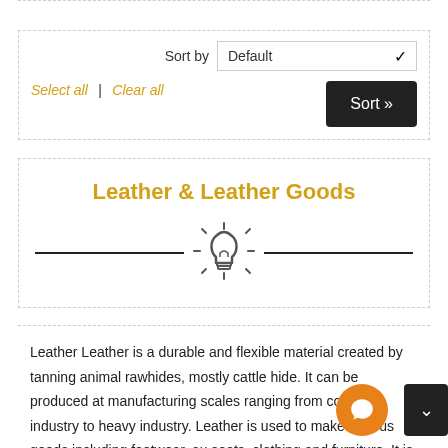Sort by Default
Select all | Clear all
Sort »
Leather & Leather Goods
[Figure (illustration): Lightbulb icon with rays, flanked by two horizontal lines forming a decorative divider]
Leather Leather is a durable and flexible material created by tanning animal rawhides, mostly cattle hide. It can be produced at manufacturing scales ranging from cottage industry to heavy industry. Leather is used to make various goods including footwear, au seats, clothing and furniture. It is produced in a wide variety of ty,